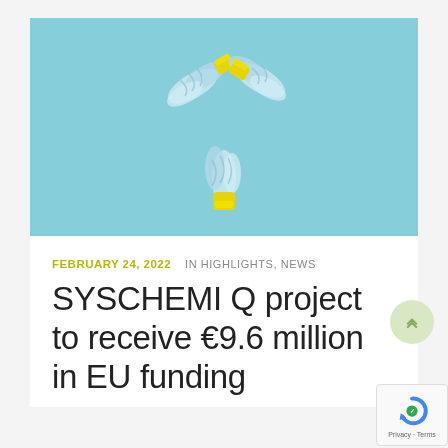[Figure (photo): Photo of three crushed plastic water bottles with yellow caps arranged in a recycling symbol triangle shape on a light blue background]
FEBRUARY 24, 2022   IN HIGHLIGHTS, NEWS
SYSCHEMI Q project to receive €9.6 million in EU funding